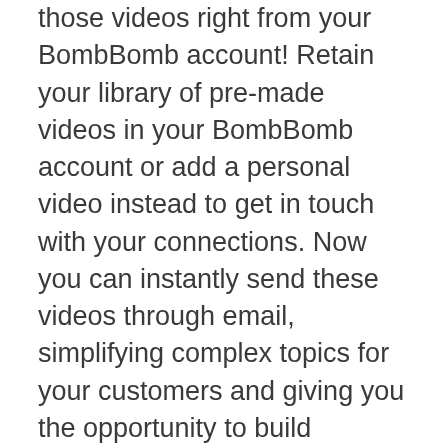those videos right from your BombBomb account! Retain your library of pre-made videos in your BombBomb account or add a personal video instead to get in touch with your connections. Now you can instantly send these videos through email, simplifying complex topics for your customers and giving you the opportunity to build relationships.
Take a look at the step by step instructions below to learn how to set up the Fast Forward Stories integration!
Step 1: Log into your BombBomb account. Hover over your name in the upper right corner and click "Integrations."